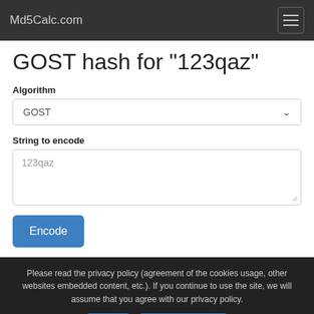Md5Calc.com
GOST hash for "123qaz"
Algorithm
GOST
String to encode
123qaz
Encode
Please read the privacy policy (agreement of the cookies usage, other websites embedded content, etc.). If you continue to use the site, we will assume that you agree with our privacy policy.
Ok
Privacy Policy